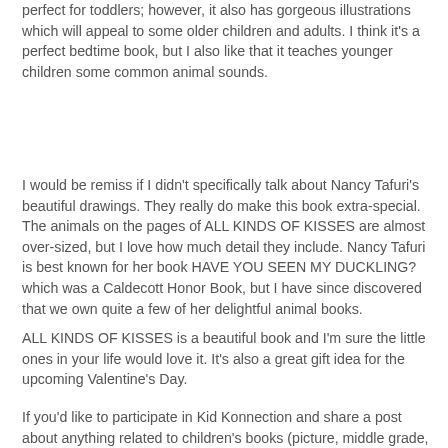perfect for toddlers; however, it also has gorgeous illustrations which will appeal to some older children and adults. I think it's a perfect bedtime book, but I also like that it teaches younger children some common animal sounds.
I would be remiss if I didn't specifically talk about Nancy Tafuri's beautiful drawings. They really do make this book extra-special. The animals on the pages of ALL KINDS OF KISSES are almost over-sized, but I love how much detail they include. Nancy Tafuri is best known for her book HAVE YOU SEEN MY DUCKLING? which was a Caldecott Honor Book, but I have since discovered that we own quite a few of her delightful animal books.
ALL KINDS OF KISSES is a beautiful book and I'm sure the little ones in your life would love it. It's also a great gift idea for the upcoming Valentine's Day.
If you'd like to participate in Kid Konnection and share a post about anything related to children's books (picture, middle grade, or young adult) from the past week, please leave a comment as well as a link below with your name/blog name